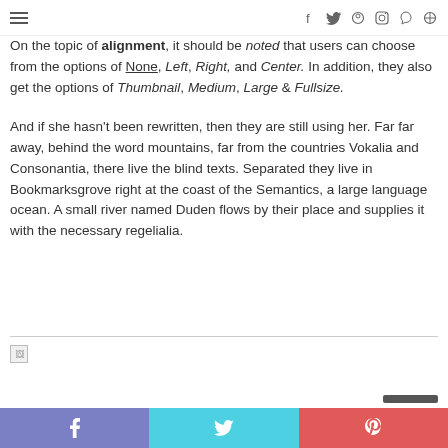Navigation bar with hamburger menu and social icons: f, twitter, pinterest, instagram, skype, search
On the topic of alignment, it should be noted that users can choose from the options of None, Left, Right, and Center. In addition, they also get the options of Thumbnail, Medium, Large & Fullsize.
And if she hasn't been rewritten, then they are still using her. Far far away, behind the word mountains, far from the countries Vokalia and Consonantia, there live the blind texts. Separated they live in Bookmarksgrove right at the coast of the Semantics, a large language ocean. A small river named Duden flows by their place and supplies it with the necessary regelialia.
[Figure (other): Broken image placeholder with horizontal rule above]
Social share bar with Facebook, Twitter, and Pinterest icons